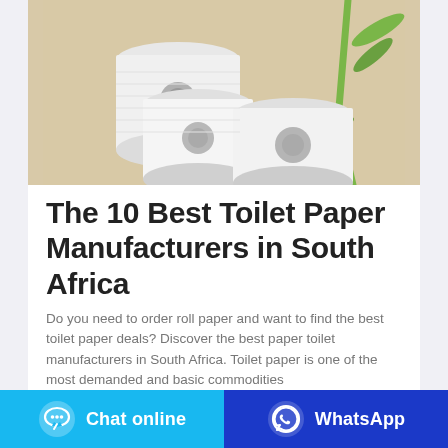[Figure (photo): Three rolls of white toilet paper arranged on a beige/tan background with a green bamboo stem in the background]
The 10 Best Toilet Paper Manufacturers in South Africa
Do you need to order roll paper and want to find the best toilet paper deals? Discover the best paper toilet manufacturers in South Africa. Toilet paper is one of the most demanded and basic commodities